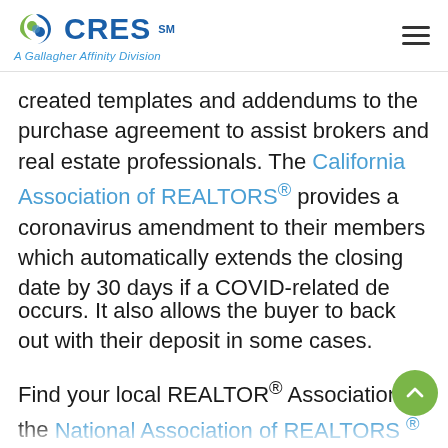CRES℠ A Gallagher Affinity Division
created templates and addendums to the purchase agreement to assist brokers and real estate professionals. The California Association of REALTORS® provides a coronavirus amendment to their members which automatically extends the closing date by 30 days if a COVID-related delay occurs. It also allows the buyer to back out with their deposit in some cases.
Find your local REALTOR® Association Of the National Association of REALTORS® website to see what templates/addendums are available in your area.